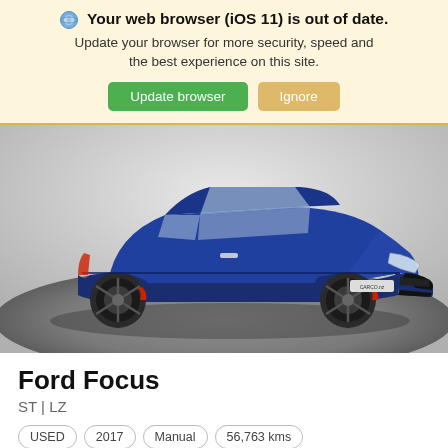Your web browser (iOS 11) is out of date. Update your browser for more security, speed and the best experience on this site.
Update browser | Ignore
[Figure (photo): Blue Ford Focus ST hatchback photographed on a dark turntable from a front-three-quarter angle. The car has dark alloy wheels with red brake calipers and a CARCO.nz dealer plate.]
Ford Focus
ST | LZ
USED | 2017 | Manual | 56,763 kms